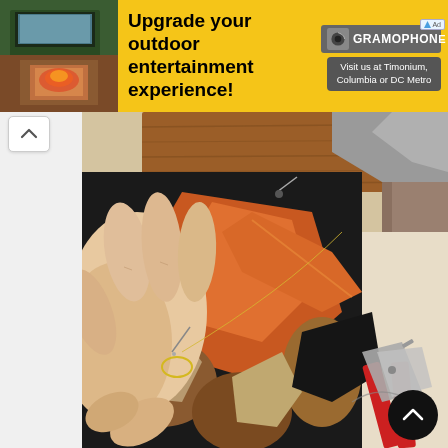[Figure (screenshot): Advertisement banner with yellow background for Gramophone electronics store. Text reads 'Upgrade your outdoor entertainment experience!' with Gramophone logo and 'Visit us at Timonium, Columbia or DC Metro' button. Left side shows an outdoor entertainment setup photo.]
[Figure (photo): Close-up photo of hands doing needlework/sewing on a patterned fabric with orange, brown, and black geometric/abstract design. Scissors with red handles visible on the right side. The fabric is being hand-stitched with a needle and yellow thread on what appears to be a wooden table surface.]